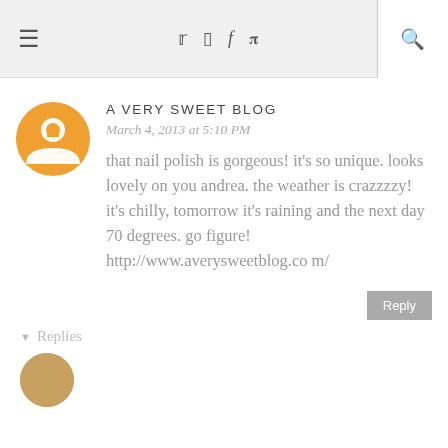≡  Twitter Instagram Facebook Pinterest  🔍
A VERY SWEET BLOG
March 4, 2013 at 5:10 PM
that nail polish is gorgeous! it's so unique. looks lovely on you andrea. the weather is crazzzzy! it's chilly, tomorrow it's raining and the next day 70 degrees. go figure! http://www.averysweetblog.com/
Reply
▾ Replies